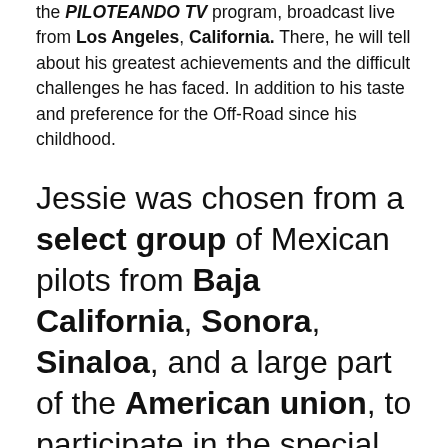the PILOTEANDO TV program, broadcast live from Los Angeles, California. There, he will tell about his greatest achievements and the difficult challenges he has faced. In addition to his taste and preference for the Off-Road since his childhood.
Jessie was chosen from a select group of Mexican pilots from Baja California, Sonora, Sinaloa, and a large part of the American union, to participate in the special broadcast entitled: " Mujeres Off Road # 2", on Wednesday, March 3 at 10 a.m. at night, local time.